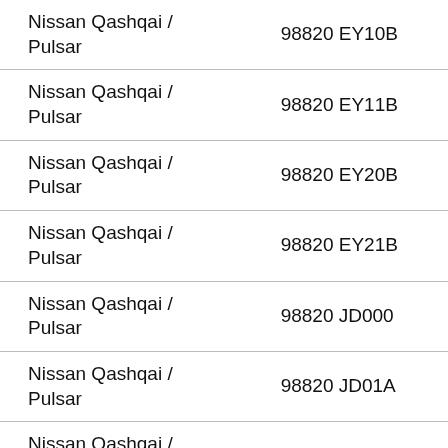| Nissan Qashqai / Pulsar | 98820 EY10B |
| Nissan Qashqai / Pulsar | 98820 EY11B |
| Nissan Qashqai / Pulsar | 98820 EY20B |
| Nissan Qashqai / Pulsar | 98820 EY21B |
| Nissan Qashqai / Pulsar | 98820 JD000 |
| Nissan Qashqai / Pulsar | 98820 JD01A |
| Nissan Qashqai / Pulsar | 98820 JD10A |
| Nissan Qashqai / Pulsar | 98820 JD11A |
| Nissan Qashqai / Pulsar | 98820 JD20A |
| Nissan Qashqai / Pulsar | 98820 JD21A |